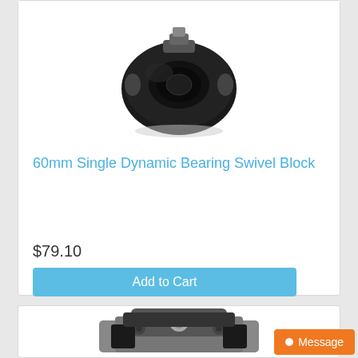[Figure (photo): Black sailing block pulley (60mm Single Dynamic Bearing Swivel Block) viewed from above, oval black body with metal fittings at top]
60mm Single Dynamic Bearing Swivel Block
$79.10
Add to Cart
[Figure (photo): Partial view of another sailing block/cleat product, silver and black metal hardware, partially visible at bottom of page]